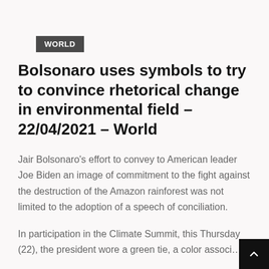WORLD
Bolsonaro uses symbols to try to convince rhetorical change in environmental field – 22/04/2021 – World
Jair Bolsonaro's effort to convey to American leader Joe Biden an image of commitment to the fight against the destruction of the Amazon rainforest was not limited to the adoption of a speech of conciliation.
In participation in the Climate Summit, this Thursday (22), the president wore a green tie, a color associ…